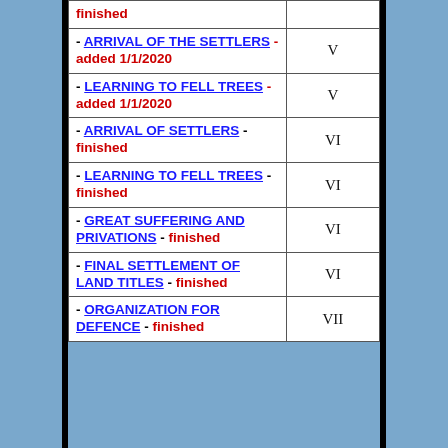| Item | Volume |
| --- | --- |
| - ARRIVAL OF THE SETTLERS - added 1/1/2020 | V |
| - LEARNING TO FELL TREES - added 1/1/2020 | V |
| - ARRIVAL OF SETTLERS - finished | VI |
| - LEARNING TO FELL TREES - finished | VI |
| - GREAT SUFFERING AND PRIVATIONS - finished | VI |
| - FINAL SETTLEMENT OF LAND TITLES - finished | VI |
| - ORGANIZATION FOR DEFENCE - finished | VII |